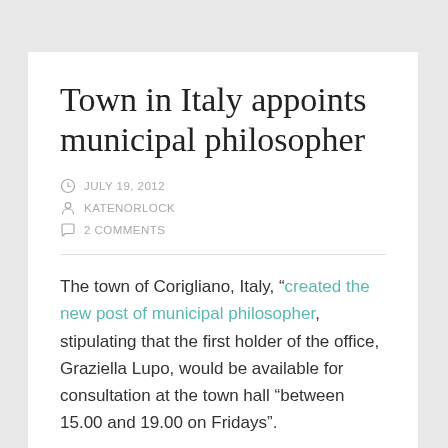Town in Italy appoints municipal philosopher
JULY 19, 2012
KATENORLOCK
2 COMMENTS
The town of Corigliano, Italy, “created the new post of municipal philosopher, stipulating that the first holder of the office, Graziella Lupo, would be available for consultation at the town hall “between 15.00 and 19.00 on Fridays”.